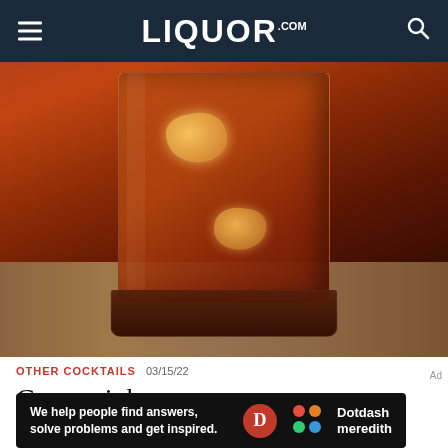LIQUOR.COM
[Figure (photo): A square glass filled with dark red/amber cocktail and ice cubes, sitting on a wooden surface. The drink has a deep crimson color with orange-amber glowing ice.]
OTHER COCKTAILS  03/15/22
Camparinha
We help people find answers, solve problems and get inspired. Dotdash meredith